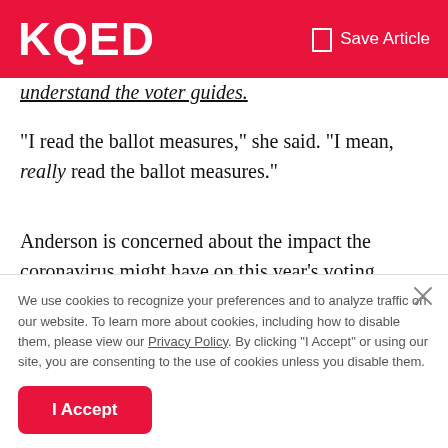KQED   Save Article
understand the voter guides.
"I read the ballot measures," she said. "I mean, really read the ballot measures."
Anderson is concerned about the impact the coronavirus might have on this year’s voting process. Mail-in ballots are a way to keep people safe, and she’s frustrated with the current administration’s attempts to discredit this method of voting.
We use cookies to recognize your preferences and to analyze traffic on our website. To learn more about cookies, including how to disable them, please view our Privacy Policy. By clicking “I Accept” or using our site, you are consenting to the use of cookies unless you disable them.
I Accept